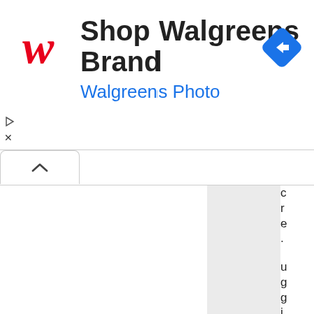[Figure (screenshot): Walgreens advertisement banner showing the Walgreens cursive 'W' logo in red, the text 'Shop Walgreens Brand' in large bold black font, 'Walgreens Photo' in blue below, and a blue diamond-shaped navigation arrow icon on the right. Below the ad are UI elements including a tab with an up-arrow chevron, a two-column content area with a gray right panel, and partially visible vertical text on the far right edge reading letters: c, r, e, ., s, n, o, d, e, b, u, g, g, i, n, g, a]